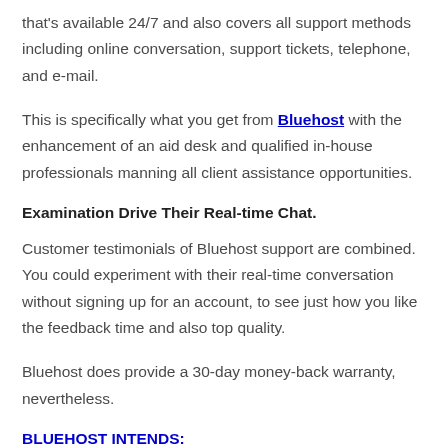that's available 24/7 and also covers all support methods including online conversation, support tickets, telephone, and e-mail.
This is specifically what you get from Bluehost with the enhancement of an aid desk and qualified in-house professionals manning all client assistance opportunities.
Examination Drive Their Real-time Chat.
Customer testimonials of Bluehost support are combined. You could experiment with their real-time conversation without signing up for an account, to see just how you like the feedback time and also top quality.
Bluehost does provide a 30-day money-back warranty, nevertheless.
BLUEHOST INTENDS: